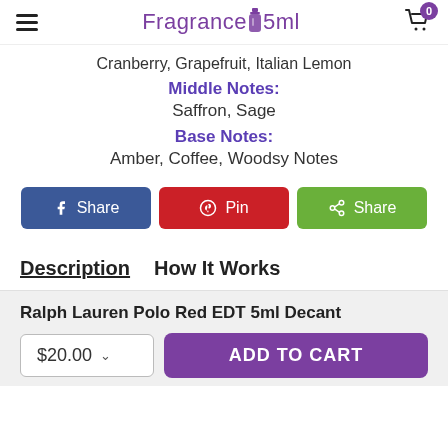Fragrance 5ml (logo with cart icon showing 0)
Cranberry, Grapefruit, Italian Lemon
Middle Notes:
Saffron, Sage
Base Notes:
Amber, Coffee, Woodsy Notes
Share (Facebook)
Pin (Pinterest)
Share (Other)
Description   How It Works
Ralph Lauren Polo Red EDT 5ml Decant
$20.00   ADD TO CART